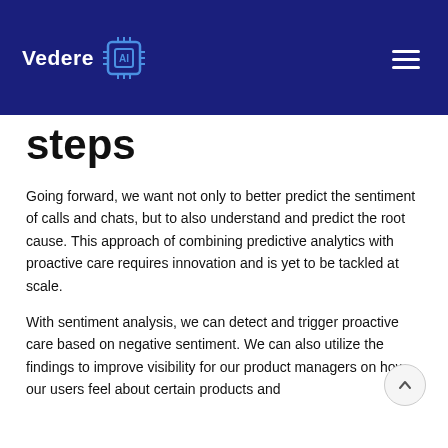Vedere AI
steps
Going forward, we want not only to better predict the sentiment of calls and chats, but to also understand and predict the root cause. This approach of combining predictive analytics with proactive care requires innovation and is yet to be tackled at scale.
With sentiment analysis, we can detect and trigger proactive care based on negative sentiment. We can also utilize the findings to improve visibility for our product managers on how our users feel about certain products and